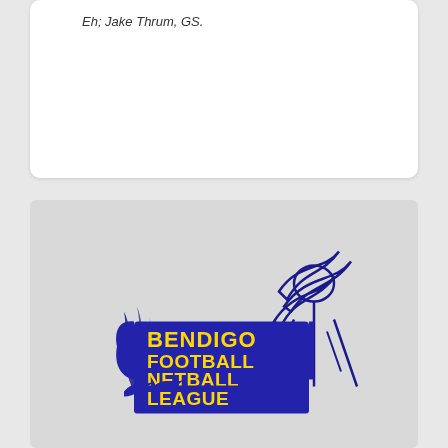Eh; Jake Thrum, GS.
[Figure (logo): Bendigo Football Netball League logo featuring blue banner with yellow block text reading BENDIGO FOOTBALL NETBALL LEAGUE and a stylized football goal post on the right]